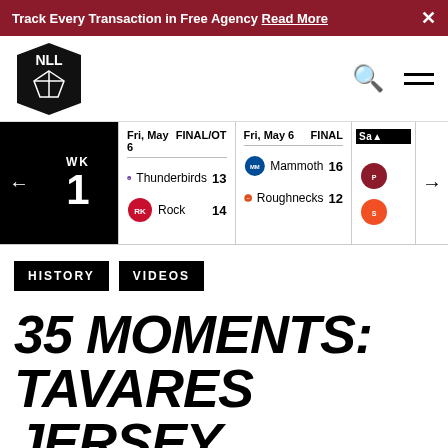Track Every Transaction in Free Agency Read More ×
[Figure (logo): NLL (National Lacrosse League) shield logo]
| Date | Status | Team | Score |
| --- | --- | --- | --- |
| Fri, May 6 | FINAL/OT | Thunderbirds | 13 |
| Fri, May 6 | FINAL/OT | Rock | 14 |
| Fri, May 6 | FINAL | Mammoth | 16 |
| Fri, May 6 | FINAL | Roughnecks | 12 |
HISTORY
VIDEOS
35 MOMENTS: TAVARES JERSEY